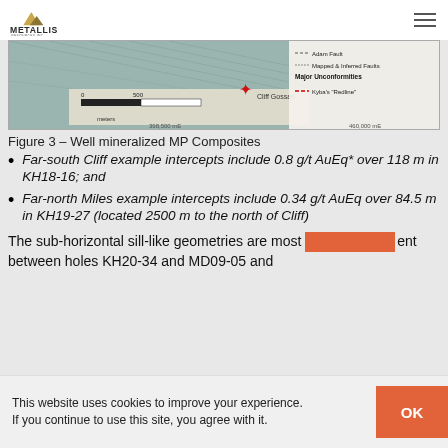Metallis Resources Inc.
[Figure (map): Geological map showing Cliff Gossan location with legend: Adam Fault, Mapped & Inferred Faults, Major Unconformities, Kyba's Redline. Scale bar shows 500 meters.]
Figure 3 – Well mineralized MP Composites
Far-south Cliff example intercepts include 0.8 g/t AuEq* over 118 m in KH18-16; and
Far-north Miles example intercepts include 0.34 g/t AuEq over 84.5 m in KH19-27 (located 2500 m to the north of Cliff)
The sub-horizontal sill-like geometries are most apparent between holes KH20-34 and MD09-05 and
This website uses cookies to improve your experience. If you continue to use this site, you agree with it.